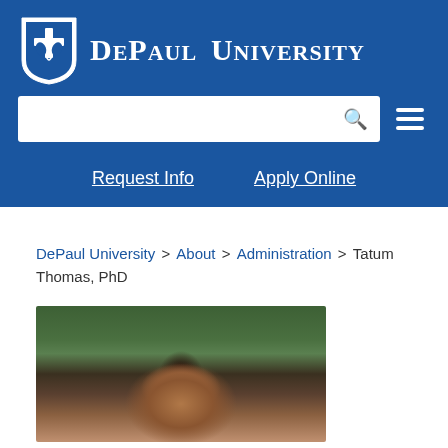[Figure (logo): DePaul University logo with shield icon and text]
[Figure (screenshot): Search bar with magnifying glass icon and hamburger menu icon]
Request Info    Apply Online
DePaul University > About > Administration > Tatum Thomas, PhD
[Figure (photo): Portrait photograph of Tatum Thomas, PhD, a woman with dark hair, shown from shoulders up against a green leafy background]